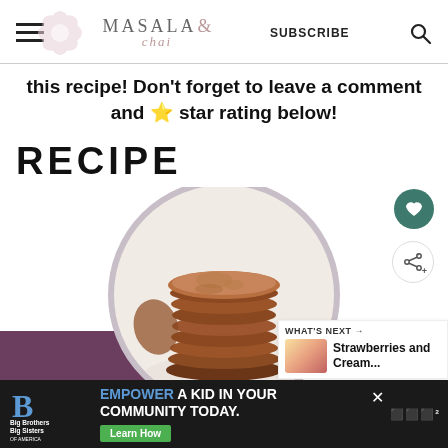MASALA & chai — SUBSCRIBE
this recipe! Don't forget to leave a comment and ⭐ star rating below!
RECIPE
[Figure (photo): Stack of ginger/chai cookies on a plate, circular cropped image on purple background. Heart and share buttons on right. 'WHAT'S NEXT' panel showing Strawberries and Cream...]
WHAT'S NEXT → Strawberries and Cream...
EMPOWER A KID IN YOUR COMMUNITY TODAY. Learn How — Big Brothers Big Sisters of America